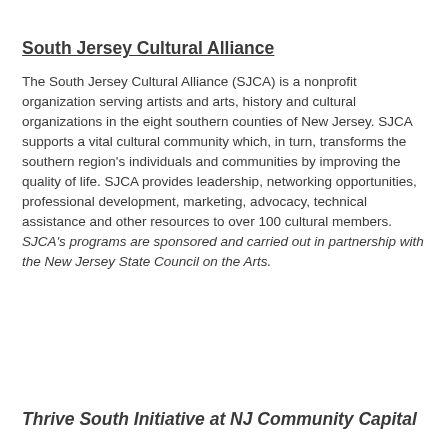South Jersey Cultural Alliance
The South Jersey Cultural Alliance (SJCA) is a nonprofit organization serving artists and arts, history and cultural organizations in the eight southern counties of New Jersey. SJCA supports a vital cultural community which, in turn, transforms the southern region's individuals and communities by improving the quality of life. SJCA provides leadership, networking opportunities, professional development, marketing, advocacy, technical assistance and other resources to over 100 cultural members. SJCA's programs are sponsored and carried out in partnership with the New Jersey State Council on the Arts.
Thrive South Initiative at NJ Community Capital